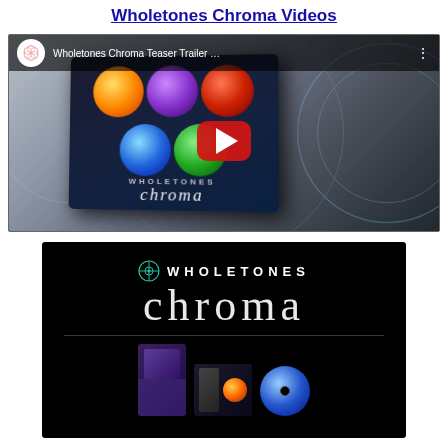Wholetones Chroma Videos
[Figure (screenshot): YouTube embedded video thumbnail showing Wholetones Chroma Teaser Trailer with a product box containing colorful discs and a red play button overlay]
[Figure (screenshot): Wholetones Chroma branding image on black background showing WHOLETONES logo, 'chroma' text in large serif font, a horizontal line, and product items below]